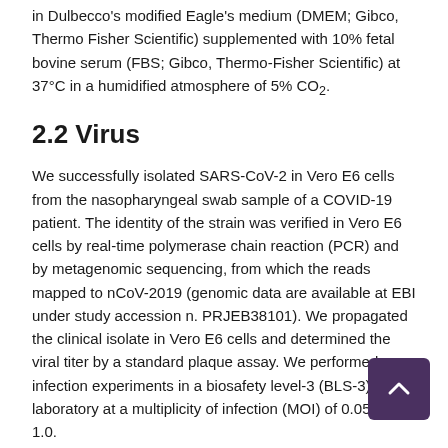in Dulbecco's modified Eagle's medium (DMEM; Gibco, Thermo Fisher Scientific) supplemented with 10% fetal bovine serum (FBS; Gibco, Thermo-Fisher Scientific) at 37°C in a humidified atmosphere of 5% CO₂.
2.2 Virus
We successfully isolated SARS-CoV-2 in Vero E6 cells from the nasopharyngeal swab sample of a COVID-19 patient. The identity of the strain was verified in Vero E6 cells by real-time polymerase chain reaction (PCR) and by metagenomic sequencing, from which the reads mapped to nCoV-2019 (genomic data are available at EBI under study accession n. PRJEB38101). We propagated the clinical isolate in Vero E6 cells and determined the viral titer by a standard plaque assay. We performed infection experiments in a biosafety level-3 (BLS-3) laboratory at a multiplicity of infection (MOI) of 0.05 and 1.0.
2.3 Efficacy study of MTX